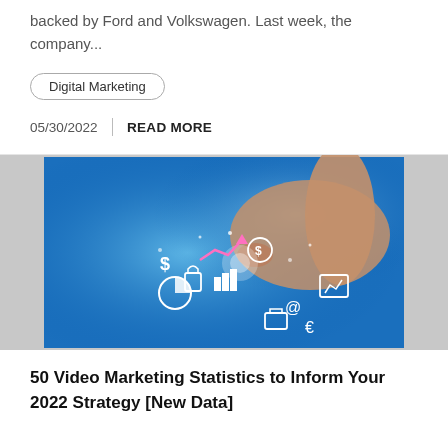backed by Ford and Volkswagen. Last week, the company...
Digital Marketing
05/30/2022   READ MORE
[Figure (photo): Hand touching a tablet screen with colorful digital marketing icons floating off the surface, including charts, graphs, currency symbols, on a blue glowing background.]
50 Video Marketing Statistics to Inform Your 2022 Strategy [New Data]